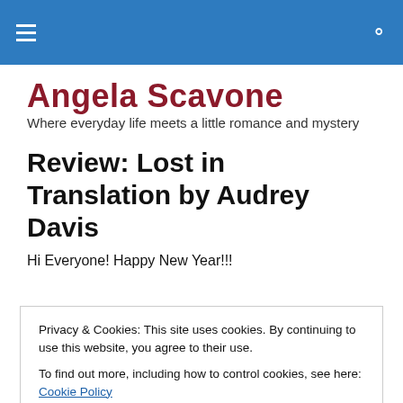≡  🔍
Angela Scavone
Where everyday life meets a little romance and mystery
Review: Lost in Translation by Audrey Davis
Hi Everyone! Happy New Year!!!
Privacy & Cookies: This site uses cookies. By continuing to use this website, you agree to their use.
To find out more, including how to control cookies, see here: Cookie Policy
[Close and accept]
[Figure (photo): Bottom strip of a book cover showing partial text 'AUDREY DAVIS' in light blue letters on a blue background.]